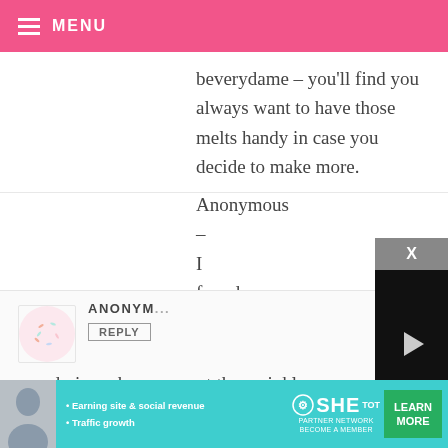MENU
beverydame – you'll find you always want to have those melts handy in case you decide to make more.
Anonymous – I found them at Kroger, called Mr. Sprinkles in the ice cream condiments section.
ANONYMOUS
REPLY
wondering where you get the sprinkles you use for the mini cupcakes– I love
[Figure (screenshot): Embedded video player overlay showing a black video frame with a play button triangle, a progress bar, and playback controls including mute, time 13:52, CC, grid, settings, and fullscreen icons. Also shows an X close button.]
[Figure (infographic): Advertisement banner for SHE Partner Network with a woman's photo, bullet points 'Earning site & social revenue' and 'Traffic growth', the SHE logo, 'PARTNER NETWORK BECOME A MEMBER' text, and a 'LEARN MORE' green button.]